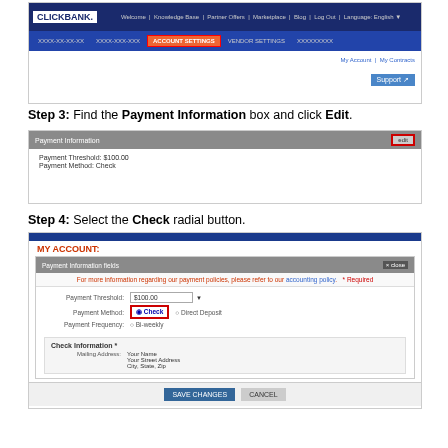[Figure (screenshot): ClickBank website header showing navigation bar with ACCOUNT SETTINGS tab highlighted in red border]
Step 3: Find the Payment Information box and click Edit.
[Figure (screenshot): Payment Information box with gray header, Edit button highlighted with red border, showing Payment Threshold: $100.00 and Payment Method: Check]
Step 4: Select the Check radial button.
[Figure (screenshot): My Account page showing Payment Information form with Payment Method radio buttons (Check selected, highlighted in red border), Direct Deposit option, Payment Frequency bi-weekly, Check Information section with Mailing Address, and Save Changes / Cancel buttons]